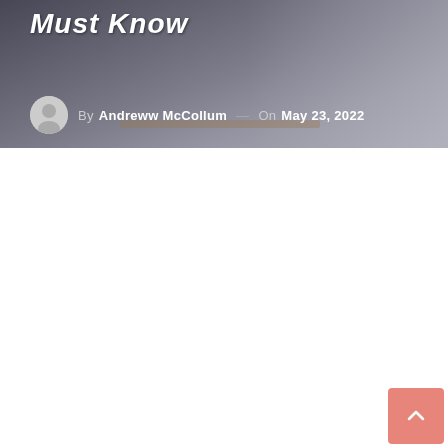[Figure (photo): Hero banner image showing a person in a workshop/office environment with sewing machine and equipment in background, with dark overlay. Title 'Must Know' visible in white bold italic text, with author byline.]
Must Know
By Andreww McCollum — On May 23, 2022